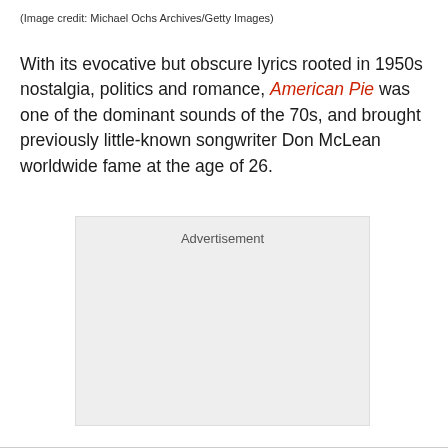(Image credit: Michael Ochs Archives/Getty Images)
With its evocative but obscure lyrics rooted in 1950s nostalgia, politics and romance, American Pie was one of the dominant sounds of the 70s, and brought previously little-known songwriter Don McLean worldwide fame at the age of 26.
[Figure (other): Advertisement placeholder box with light grey background]